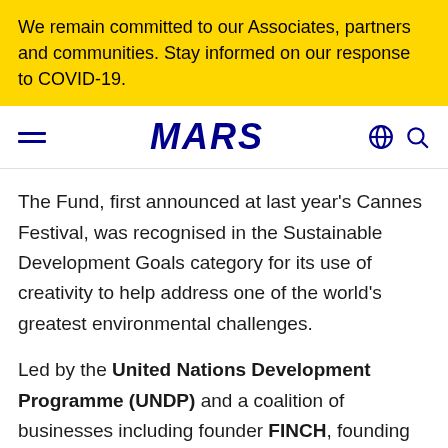We remain committed to our Associates, partners and communities. Stay informed on our response to COVID-19.
MARS
The Fund, first announced at last year's Cannes Festival, was recognised in the Sustainable Development Goals category for its use of creativity to help address one of the world's greatest environmental challenges.
Led by the United Nations Development Programme (UNDP) and a coalition of businesses including founder FINCH, founding partner Mars, Clemenger BBDO and Nielsen, the Fund asks advertisers to help raise much-needed funds for wildlife conservation and...